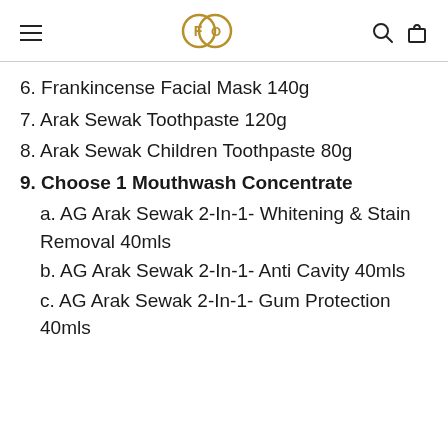FO logo with menu, search, and cart icons
6. Frankincense Facial Mask 140g
7. Arak Sewak Toothpaste 120g
8. Arak Sewak Children Toothpaste 80g
9. Choose 1 Mouthwash Concentrate
a. AG Arak Sewak 2-In-1- Whitening & Stain Removal 40mls
b. AG Arak Sewak 2-In-1- Anti Cavity 40mls
c. AG Arak Sewak 2-In-1- Gum Protection 40mls